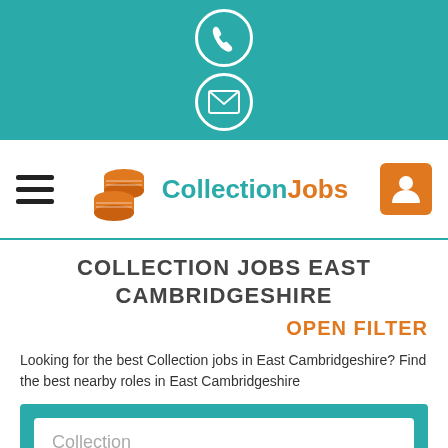[Figure (screenshot): Top teal navigation bar with phone and email icons centered]
[Figure (logo): CollectionJobs logo with orange coin stack icon and teal/orange text, hamburger menu on left, user icon on right]
COLLECTION JOBS EAST CAMBRIDGESHIRE
OPEN FILTER
Looking for the best Collection jobs in East Cambridgeshire? Find the best nearby roles in East Cambridgeshire
[Figure (screenshot): Teal search filter panel with white input box containing placeholder text 'Collection' and a second white input below]